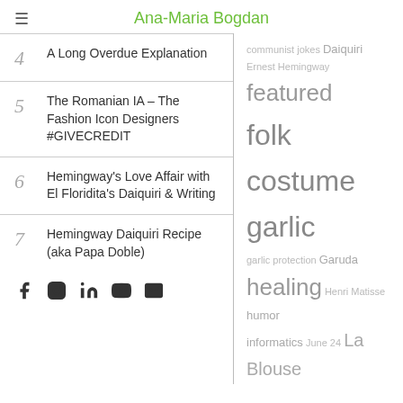Ana-Maria Bogdan
4  A Long Overdue Explanation
5  The Romanian IA – The Fashion Icon Designers #GIVECREDIT
6  Hemingway's Love Affair with El Floridita's Daiquiri & Writing
7  Hemingway Daiquiri Recipe (aka Papa Doble)
communist jokes Daiquiri Ernest Hemingway featured folk costume garlic garlic protection Garuda healing Henri Matisse humor informatics June 24 La Blouse Roumaine mathematics mezuzah political jokes politics protection Pura Luhur Uluwatu Queen Marie of Romania R/GA R/GA Bucharest Romania Romanian Blouse Romanian folk costume Romania Romanian Blouse
GO TO TOP